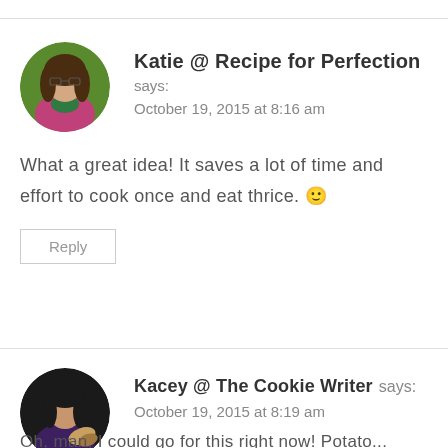[Figure (photo): Circular avatar photo of Katie, a woman with long brown hair wearing a pink top, against a green background]
Katie @ Recipe for Perfection says:
October 19, 2015 at 8:16 am
What a great idea! It saves a lot of time and effort to cook once and eat thrice. 🙂
Reply
[Figure (photo): Circular avatar photo of Kacey, a woman holding food, against a dark background]
Kacey @ The Cookie Writer says:
October 19, 2015 at 8:19 am
Oh, man, I could go for this right now! Potato...